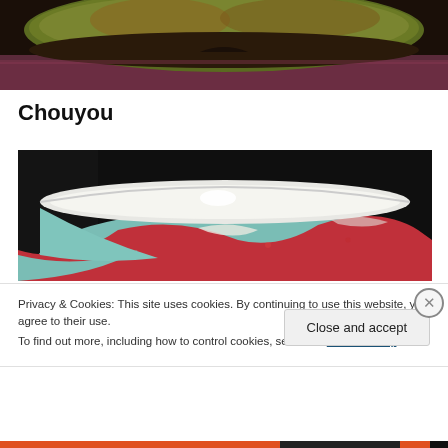[Figure (photo): Partial top view of a ceramic bowl with green and brown glaze on a dark wooden surface, partially cropped at the top]
Chouyou
[Figure (photo): Close-up photo of a ceramic bowl with teal/celadon and deep red crimson glaze, viewed from a low angle showing the interior rim filled with white liquid or glaze, dark background]
Privacy & Cookies: This site uses cookies. By continuing to use this website, you agree to their use.
To find out more, including how to control cookies, see here: Cookie Policy